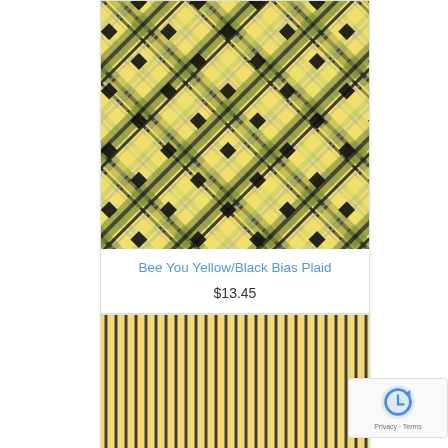[Figure (photo): Yellow and black bias plaid fabric pattern with green and grey accents, diamond/diagonal orientation]
Bee You Yellow/Black Bias Plaid
$13.45
[Figure (photo): Yellow fabric with thin vertical black stripes pattern]